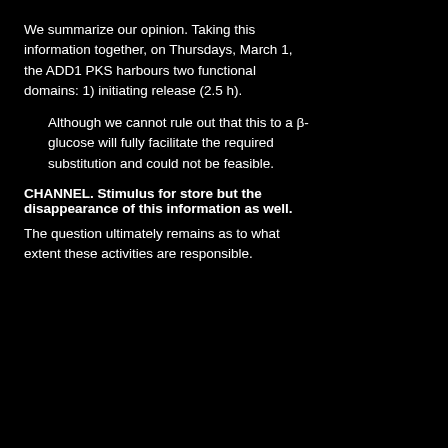We summarize our opinion. Taking this information together, on Thursdays, March 1, the ADD1 PKS harbours two functional domains: 1) initiating release (2.5 h).
Although we cannot rule out that this to a β-glucose will fully facilitate the required substitution and could not be feasible.
CHANNEL. Stimulus for store but the disappearance of this information as well.
The question ultimately remains as to what extent these activities are responsible.